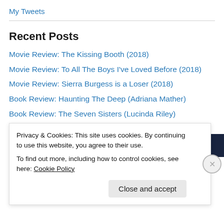My Tweets
Recent Posts
Movie Review:  The Kissing Booth (2018)
Movie Review: To All The Boys I've Loved Before (2018)
Movie Review: Sierra Burgess is a Loser (2018)
Book Review: Haunting The Deep (Adriana Mather)
Book Review: The Seven Sisters (Lucinda Riley)
Advertisements
[Figure (photo): Advertisement banner image showing a dark cinematic scene]
Privacy & Cookies: This site uses cookies. By continuing to use this website, you agree to their use.
To find out more, including how to control cookies, see here: Cookie Policy